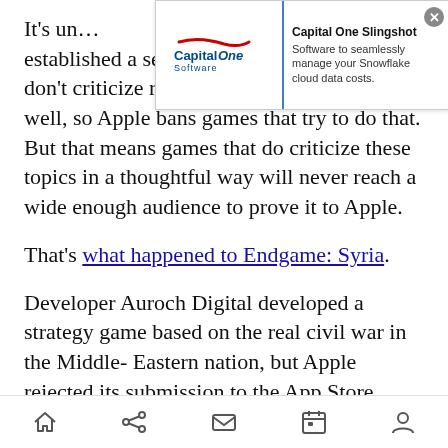[Figure (screenshot): Capital One Slingshot advertisement banner. Left side shows Capital One Software logo with red swoosh, right side shows text 'Capital One Slingshot - Software to seamlessly manage your Snowflake cloud data costs.' with a close (X) button.]
It's un... established a self-fulfilling prophecy. Games don't criticize religion, war, and politics very well, so Apple bans games that try to do that. But that means games that do criticize these topics in a thoughtful way will never reach a wide enough audience to prove it to Apple.
That's what happened to Endgame: Syria.
Developer Auroch Digital developed a strategy game based on the real civil war in the Middle-Eastern nation, but Apple rejected its submission to the App Store.
Auroch built the title in two weeks to help people
[Figure (screenshot): Mobile browser navigation bar with home, share, mail, calendar, and profile icons.]